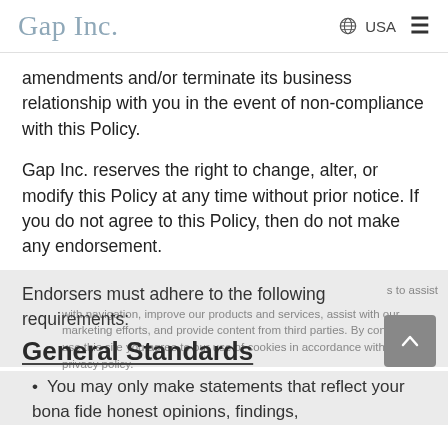Gap Inc.    USA
amendments and/or terminate its business relationship with you in the event of non-compliance with this Policy.
Gap Inc. reserves the right to change, alter, or modify this Policy at any time without prior notice. If you do not agree to this Policy, then do not make any endorsement.
Endorsers must adhere to the following requirements:
General Standards
You may only make statements that reflect your bona fide honest opinions, findings,